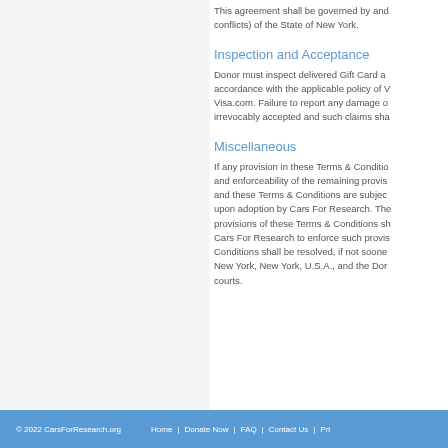This agreement shall be governed by and conflicts) of the State of New York.
Inspection and Acceptance
Donor must inspect delivered Gift Card a accordance with the applicable policy of V Visa.com. Failure to report any damage o irrevocably accepted and such claims sha
Miscellaneous
If any provision in these Terms & Conditio and enforceability of the remaining provis and these Terms & Conditions are subjec upon adoption by Cars For Research. The provisions of these Terms & Conditions sh Cars For Research to enforce such provis Conditions shall be resolved, if not soone New York, New York, U.S.A., and the Dor courts.
© 2022 CarsForResearch.org   Home | Donate Now | FAQ | Contact Us | Pri